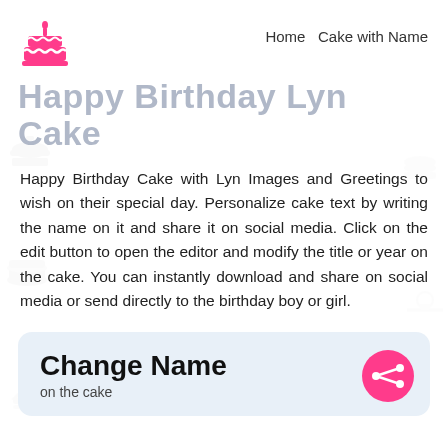Home  Cake with Name
Happy Birthday Lyn Cake
Happy Birthday Cake with Lyn Images and Greetings to wish on their special day. Personalize cake text by writing the name on it and share it on social media. Click on the edit button to open the editor and modify the title or year on the cake. You can instantly download and share on social media or send directly to the birthday boy or girl.
Change Name
on the cake